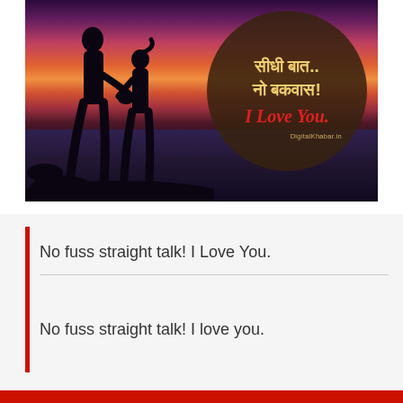[Figure (photo): A romantic photo of two silhouettes of a couple holding hands against a vivid sunset sky over water. A dark circular overlay on the right side contains Hindi text 'सीधी बात.. नो बकवास!' in golden/yellow and 'I Love You.' in red italic text, with watermark 'DigitalKhabar.in' at the bottom of the circle.]
No fuss straight talk! I Love You.
No fuss straight talk! I love you.